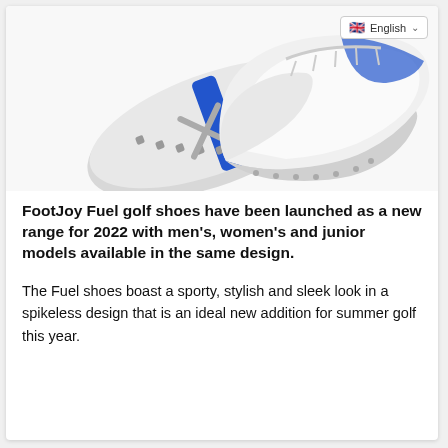[Figure (photo): FootJoy Fuel golf shoes displayed from top and bottom view on white background]
FootJoy Fuel golf shoes have been launched as a new range for 2022 with men's, women's and junior models available in the same design.
The Fuel shoes boast a sporty, stylish and sleek look in a spikeless design that is an ideal new addition for summer golf this year.